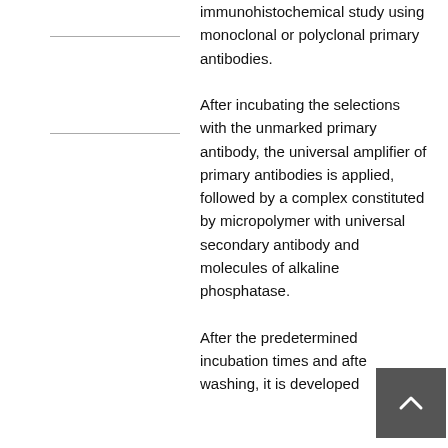immunohistochemical study using monoclonal or polyclonal primary antibodies. After incubating the selections with the unmarked primary antibody, the universal amplifier of primary antibodies is applied, followed by a complex constituted by micropolymer with universal secondary antibody and molecules of alkaline phosphatase. After the predetermined incubation times and after washing, it is developed